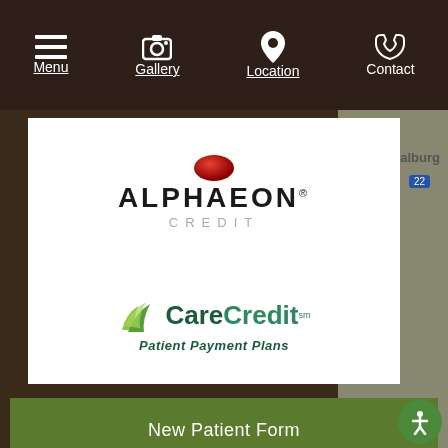Menu | Gallery | Location | Contact
[Figure (logo): Alphaeon Credit logo - white card with red circle accent, bold ALPHAEON text and CREDIT subtitle in gray]
[Figure (logo): CareCredit logo with green leaf/wing graphic, 'Care' in dark green bold, 'Credit' in medium green bold, 'Patient Payment Plans' italic tagline]
New Patient Form
[Figure (logo): Plastic Surgery Specialists circular logo - dark brown circle with decorative swirl lines and script text 'Plastic Surgery SPECIALISTS']